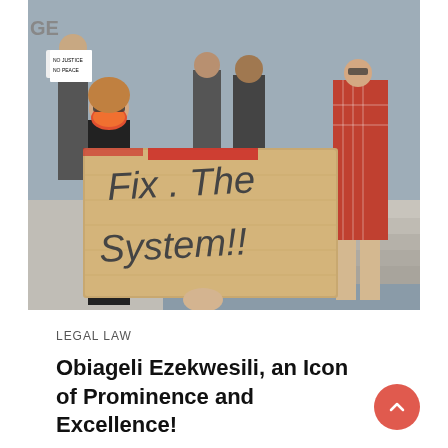[Figure (photo): Protest scene on steps of a building. A woman in the foreground wearing a colorful floral face mask holds a large cardboard sign reading 'Fix The System!!' in hand-drawn letters. Other protesters wearing masks stand on steps behind her. Some hold signs. One woman in a red plaid shirt is visible on the right side.]
LEGAL LAW
Obiageli Ezekwesili, an Icon of Prominence and Excellence!